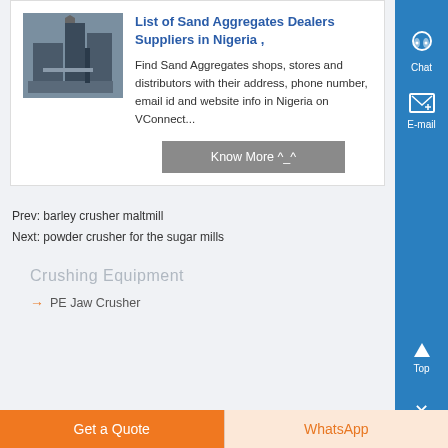[Figure (photo): Industrial crushing/aggregates plant machinery photo]
List of Sand Aggregates Dealers Suppliers in Nigeria ,
Find Sand Aggregates shops, stores and distributors with their address, phone number, email id and website info in Nigeria on VConnect...
Know More ^_^
Prev: barley crusher maltmill
Next: powder crusher for the sugar mills
Crushing Equipment
PE Jaw Crusher